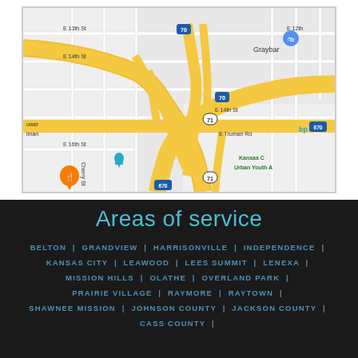[Figure (map): Google Maps screenshot showing highway interchange in Kansas City area with I-70, I-670, and Route 71 intersecting. Shows streets including E 12th St, E 13th St, E 14th St, E 16th St, E Truman Rd, Cherry St, Virginia Ave, Lydia Ave. Locations labeled include Graybar, Kansas City Urban Youth A[cademy], and bp. Map pins visible for various locations.]
Areas of service
BELTON | GRANDVIEW | HARRISONVILLE | INDEPENDENCE | KANSAS CITY | LEAWOOD | LEES SUMMIT | LENEXA | MISSION HILLS | OLATHE | OVERLAND PARK | PRAIRIE VILLAGE | RAYMORE | RAYTOWN | SHAWNEE MISSION | JOHNSON COUNTY | JACKSON COUNTY | CASS COUNTY |